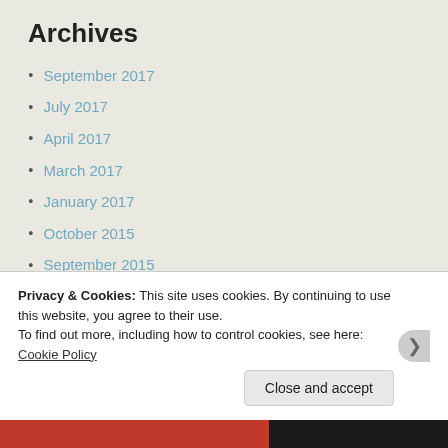Archives
September 2017
July 2017
April 2017
March 2017
January 2017
October 2015
September 2015
July 2015
June 2015
April 2015
March 2015
January 2015
Privacy & Cookies: This site uses cookies. By continuing to use this website, you agree to their use.
To find out more, including how to control cookies, see here: Cookie Policy
Close and accept